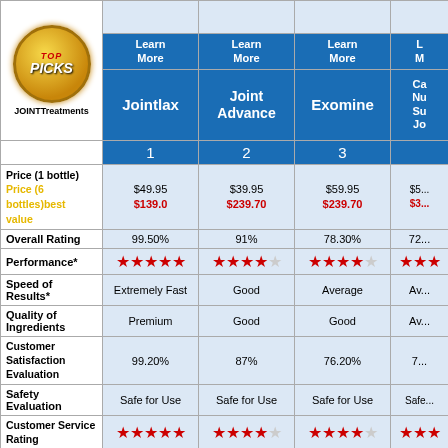| JOINTTreatments | Jointlax | Joint Advance | Exomine | Ca... Nu... Su... Jo... |
| --- | --- | --- | --- | --- |
| Price (1 bottle) Price (6 bottles)best value | $49.95 / $139.0 | $39.95 / $239.70 | $59.95 / $239.70 | $5... / $3... |
| Overall Rating | 99.50% | 91% | 78.30% | 72... |
| Performance* | ★★★★★ | ★★★★☆ | ★★★★☆ | ★★★... |
| Speed of Results* | Extremely Fast | Good | Average | Av... |
| Quality of Ingredients | Premium | Good | Good | Av... |
| Customer Satisfaction Evaluation | 99.20% | 87% | 76.20% | 7... |
| Safety Evaluation | Safe for Use | Safe for Use | Safe for Use | Safe... |
| Customer Service Rating | ★★★★★ | ★★★★☆ | ★★★★☆ | ★★★... |
| Reorder Rate | Highest | Good | Good | Av... |
| Return Policy | Risk Free | Unopened | Unopened | Ris... |
| Success Rate | 99.40% | 82.50% | 74% | 71... |